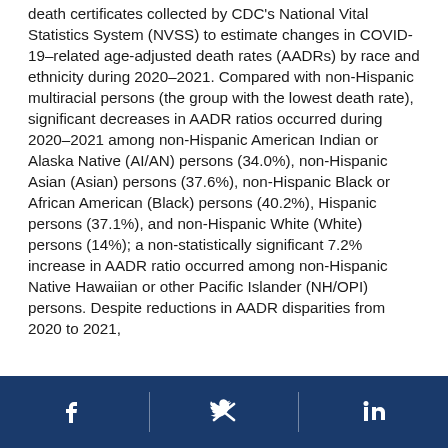death certificates collected by CDC's National Vital Statistics System (NVSS) to estimate changes in COVID-19–related age-adjusted death rates (AADRs) by race and ethnicity during 2020–2021. Compared with non-Hispanic multiracial persons (the group with the lowest death rate), significant decreases in AADR ratios occurred during 2020–2021 among non-Hispanic American Indian or Alaska Native (AI/AN) persons (34.0%), non-Hispanic Asian (Asian) persons (37.6%), non-Hispanic Black or African American (Black) persons (40.2%), Hispanic persons (37.1%), and non-Hispanic White (White) persons (14%); a non-statistically significant 7.2% increase in AADR ratio occurred among non-Hispanic Native Hawaiian or other Pacific Islander (NH/OPI) persons. Despite reductions in AADR disparities from 2020 to 2021,
[Figure (infographic): Footer bar with social media icons: Facebook, Twitter, LinkedIn on dark blue background]